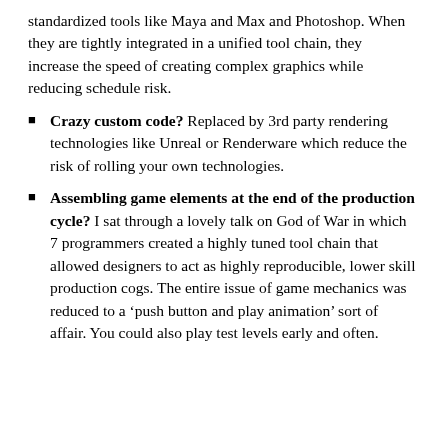standardized tools like Maya and Max and Photoshop. When they are tightly integrated in a unified tool chain, they increase the speed of creating complex graphics while reducing schedule risk.
Crazy custom code? Replaced by 3rd party rendering technologies like Unreal or Renderware which reduce the risk of rolling your own technologies.
Assembling game elements at the end of the production cycle? I sat through a lovely talk on God of War in which 7 programmers created a highly tuned tool chain that allowed designers to act as highly reproducible, lower skill production cogs. The entire issue of game mechanics was reduced to a ‘push button and play animation’ sort of affair. You could also play test levels early and often.